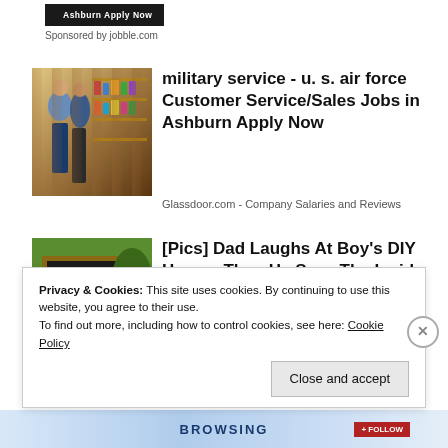[Figure (screenshot): Dark banner button with text 'Ashburn Apply Now']
Sponsored by jobble.com
[Figure (photo): Two retail workers in a store aisle with shelves in the background]
military service - u. s. air force Customer Service/Sales Jobs in Ashburn Apply Now
Glassdoor.com - Company Salaries and Reviews
[Figure (photo): A DIY shed covered in black material in a garden, with a person standing inside the open door]
[Pics] Dad Laughs At Boy's DIY House, Then He Sees The Inside
BuzzFond
Privacy & Cookies: This site uses cookies. By continuing to use this website, you agree to their use.
To find out more, including how to control cookies, see here: Cookie Policy
Close and accept
[Figure (screenshot): Bottom advertisement banner with text 'BROWSING']